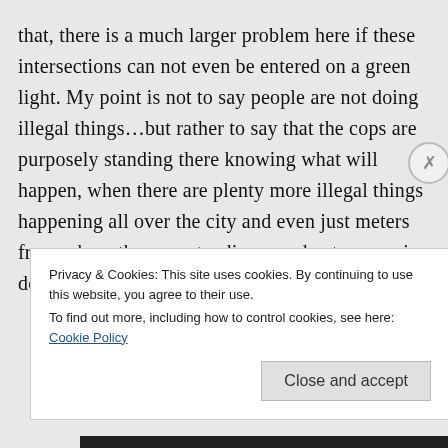that, there is a much larger problem here if these intersections can not even be entered on a green light. My point is not to say people are not doing illegal things…but rather to say that the cops are purposely standing there knowing what will happen, when there are plenty more illegal things happening all over the city and even just meters from where they are standing…and yet no one is doing anything about it.
Privacy & Cookies: This site uses cookies. By continuing to use this website, you agree to their use. To find out more, including how to control cookies, see here: Cookie Policy